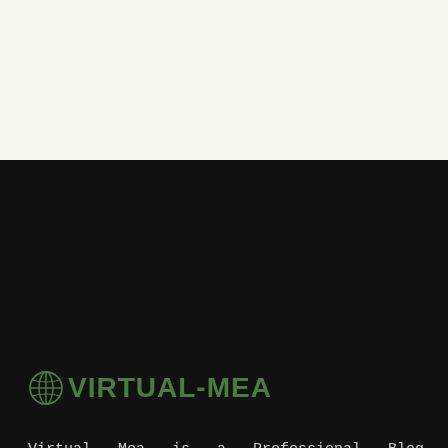[Figure (other): Light green/beige header background area at top of page]
VIRTUAL-MEA
Virtual Mea is a Professional Blog Platform. Here we will provide you only interesting content, which you will like very much. We're dedicated to providing you the best of Blog, with a focus on dependability and General.